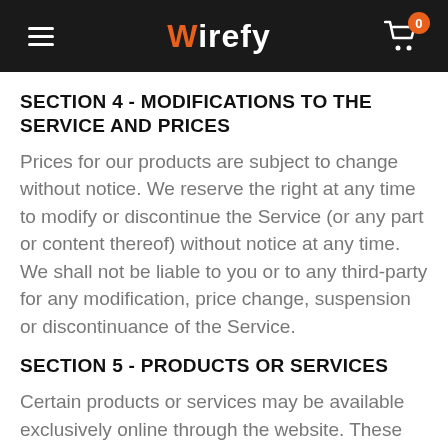Wirefy
SECTION 4 - MODIFICATIONS TO THE SERVICE AND PRICES
Prices for our products are subject to change without notice. We reserve the right at any time to modify or discontinue the Service (or any part or content thereof) without notice at any time. We shall not be liable to you or to any third-party for any modification, price change, suspension or discontinuance of the Service.
SECTION 5 - PRODUCTS OR SERVICES
Certain products or services may be available exclusively online through the website. These